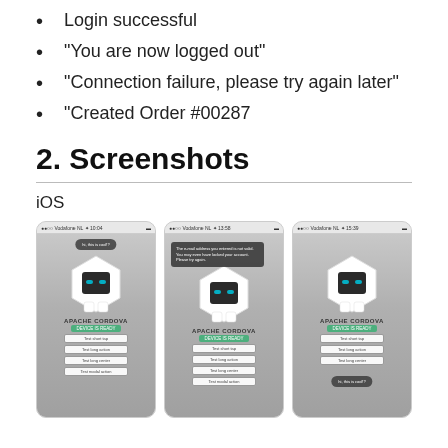Login successful
"You are now logged out"
"Connection failure, please try again later"
"Created Order #00287
2. Screenshots
iOS
[Figure (screenshot): Three iOS app screenshots showing the Apache Cordova app with a robot mascot. First screenshot shows 'hi, this is cool!?' bubble. Second shows an error toast message. Third shows a confirmation bubble at the bottom.]